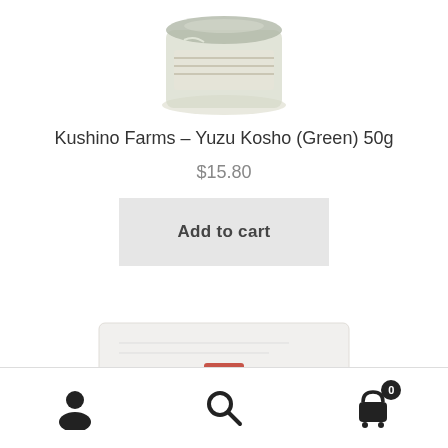[Figure (photo): Top portion of a glass jar product (Yuzu Kosho green condiment), cropped at top]
Kushino Farms – Yuzu Kosho (Green) 50g
$15.80
Add to cart
[Figure (photo): Partial product image at bottom of screen, showing a white tray/container with a red element, cropped]
[Figure (infographic): Bottom navigation bar with user/account icon, search icon, and shopping cart icon with badge showing 0]